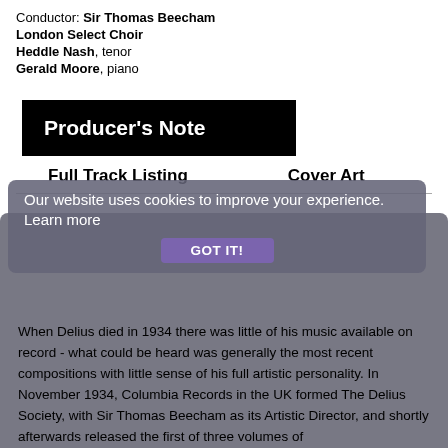Conductor: Sir Thomas Beecham
London Select Choir
Heddle Nash, tenor
Gerald Moore, piano
Producer's Note
Full Track Listing
Cover Art
When Delius died in 1934 there was little of his music available on record - what could be heard was generally the most recent compositions with little sense of his full artistic personality. In November 1934, Columbia Records in the UK formed The Delius Society, with Sir Thomas Beecham as its Artistic Director, and shortly afterwards released the first of three volumes of
Our website uses cookies to improve your experience. Learn more
GOT IT!